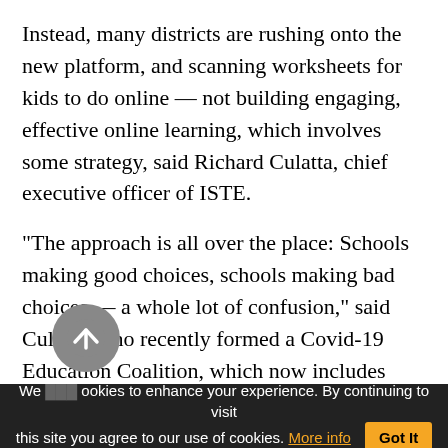Instead, many districts are rushing onto the new platform, and scanning worksheets for kids to do online — not building engaging, effective online learning, which involves some strategy, said Richard Culatta, chief executive officer of ISTE.
“The approach is all over the place: Schools making good choices, schools making bad choices — a whole lot of confusion,” said Culatta, who recently formed a Covid-19 Education Coalition, which now includes more than 50 organizations, to curate and vet resources for educators to use for online instruction through a free portal. “Our recommendation is for schools to pause for a minute to take a couple days to think about the
We use cookies to enhance your experience. By continuing to visit this site you agree to our use of cookies. More info   Got It